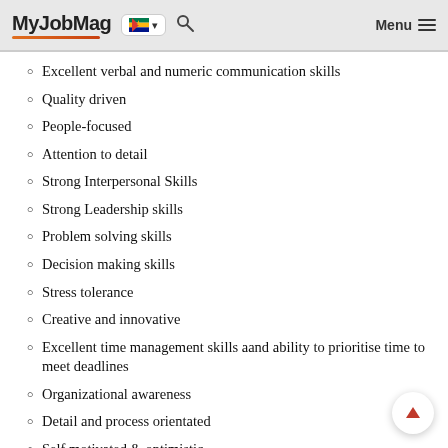MyJobMag [ZA flag] Menu
Excellent verbal and numeric communication skills
Quality driven
People-focused
Attention to detail
Strong Interpersonal Skills
Strong Leadership skills
Problem solving skills
Decision making skills
Stress tolerance
Creative and innovative
Excellent time management skills aand ability to prioritise time to meet deadlines
Organizational awareness
Detail and process orientated
Self motivated & optimistic
Customer centric